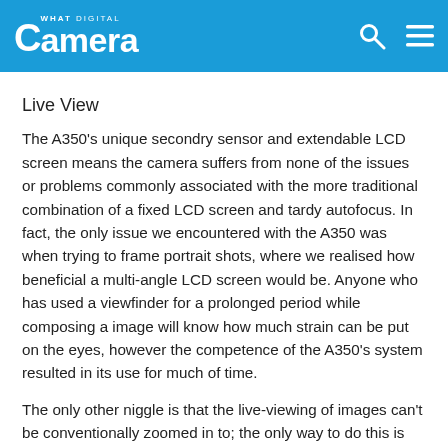What Digital Camera
Live View
The A350's unique secondry sensor and extendable LCD screen means the camera suffers from none of the issues or problems commonly associated with the more traditional combination of a fixed LCD screen and tardy autofocus. In fact, the only issue we encountered with the A350 was when trying to frame portrait shots, where we realised how beneficial a multi-angle LCD screen would be. Anyone who has used a viewfinder for a prolonged period while composing a image will know how much strain can be put on the eyes, however the competence of the A350's system resulted in its use for much of time.
The only other niggle is that the live-viewing of images can't be conventionally zoomed in to; the only way to do this is via the Smart Teleconverter, which either refocuses when you zoom back out or takes the zoomed image at a lower resolution. The